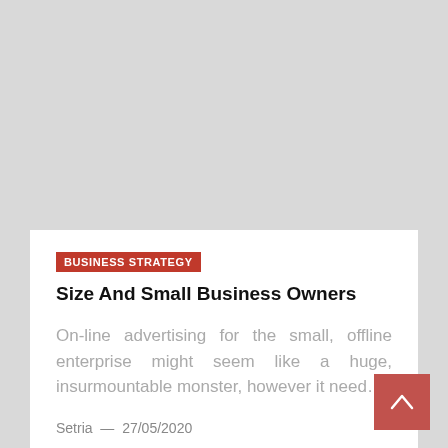BUSINESS STRATEGY
Size And Small Business Owners
On-line advertising for the small, offline enterprise might seem like a huge, insurmountable monster, however it need…
Setria — 27/05/2020